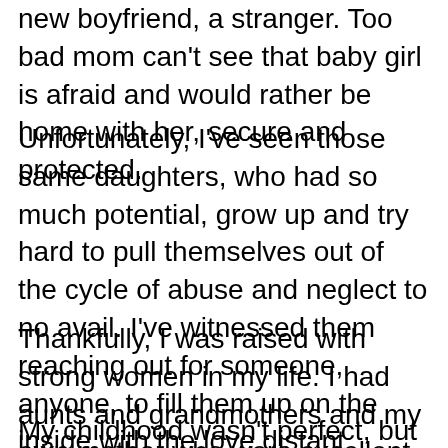new boyfriend, a stranger. Too bad mom can't see that baby girl is afraid and would rather be home with her, secure and protected.
Unfortunately, I've seen those same daughters, who had so much potential, grow up and try hard to pull themselves out of the cycle of abuse and neglect to no avail. I've witnessed them reaching out for someone, anyone, to fill them up on the inside with the love distant mommy and absent daddy wouldn't spare. Sometimes they've reached out to the wrong crowd. Sometimes the end results were tragic.
Thankfully, I was raised with strong women in my life. I had aunts and grandmothers and my own mother who were excellent examples of what a nurturer should be.
My childhood wasn't perfect, but I revisit it with